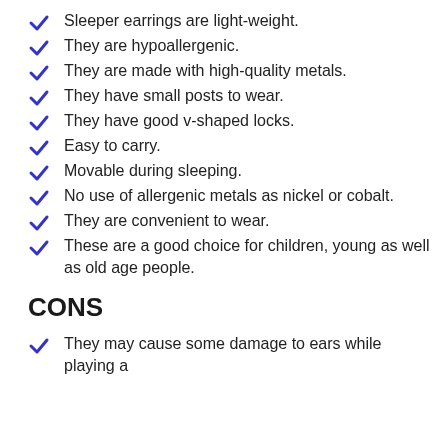Sleeper earrings are light-weight.
They are hypoallergenic.
They are made with high-quality metals.
They have small posts to wear.
They have good v-shaped locks.
Easy to carry.
Movable during sleeping.
No use of allergenic metals as nickel or cobalt.
They are convenient to wear.
These are a good choice for children, young as well as old age people.
CONS
They may cause some damage to ears while playing a